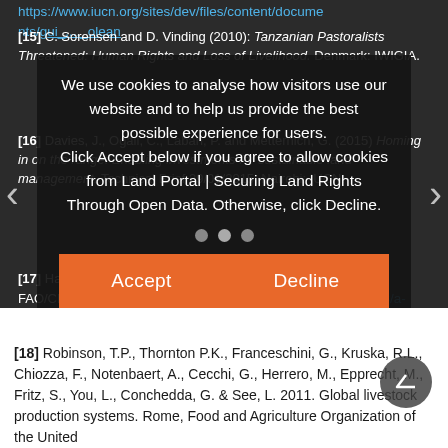[15] C. Sorensen and D. Vinding (2010): Tanzanian Pastoralists Threatened: Human Rights and Loss of Livelihood. Denmark: IWIGIA. https://www.iucn.org/sites/dev/files/content/documents/g...
[16] Davies, J., Ogali, C., Laban, P. and Metternich, G. (2015) Homing in on the range: Enabling investments for sustainable land management. Technical Brief 29/01/2015. Nairobi: IUCN.
We use cookies to analyse how visitors use our website and to help us provide the best possible experience for users. Click Accept below if you agree to allow cookies from Land Portal | Securing Land Rights Through Open Data. Otherwise, click Decline.
[17] Ham, Metais, Hoorelbeke, Fillol and Crahay (2011) in FAO/CIRA...pastoralism in the Sahel Internet: http://www.fao.org/3/a-i2601e.pdf
[18] Robinson, T.P., Thornton P.K., Franceschini, G., Kruska, R.L., Chiozza, F., Notenbaert, A., Cecchi, G., Herrero, M., Epprecht, M., Fritz, S., You, L., Conchedda, G. & See, L. 2011. Global livestock production systems. Rome, Food and Agriculture Organization of the United